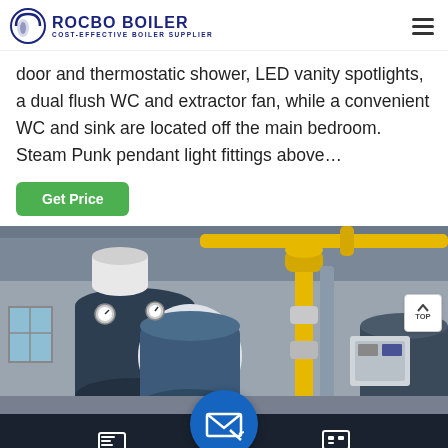ROCBO BOILER - COST-EFFECTIVE BOILER SUPPLIER
door and thermostatic shower, LED vanity spotlights, a dual flush WC and extractor fan, while a convenient WC and sink are located off the main bedroom. Steam Punk pendant light fittings above…
[Figure (photo): Industrial boiler room showing large blue/gray fire-tube boilers with yellow gas pipes and piping infrastructure inside a factory or manufacturing plant.]
Send Message | Inquiry Online